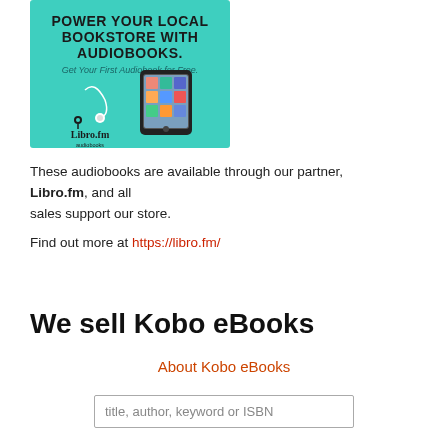[Figure (illustration): Libro.fm advertisement banner with teal border, bold text 'POWER YOUR LOCAL BOOKSTORE WITH AUDIOBOOKS. Get Your First Audiobook for Free.' with an image of a smartphone and earbuds, and the Libro.fm logo at the bottom.]
These audiobooks are available through our partner, Libro.fm, and all sales support our store.
Find out more at https://libro.fm/
We sell Kobo eBooks
About Kobo eBooks
title, author, keyword or ISBN